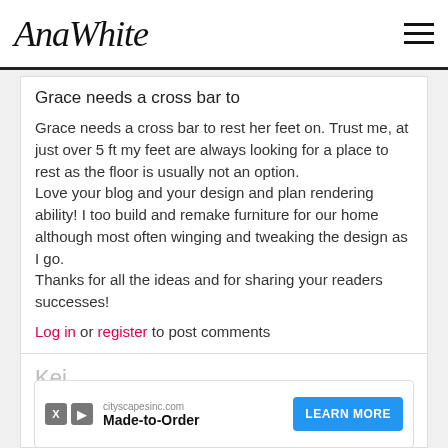AnaWhite
Grace needs a cross bar to
Grace needs a cross bar to rest her feet on. Trust me, at just over 5 ft my feet are always looking for a place to rest as the floor is usually not an option.
Love your blog and your design and plan rendering ability! I too build and remake furniture for our home although most often winging and tweaking the design as I go.
Thanks for all the ideas and for sharing your readers successes!
Log in or register to post comments
Kei...
Mo...